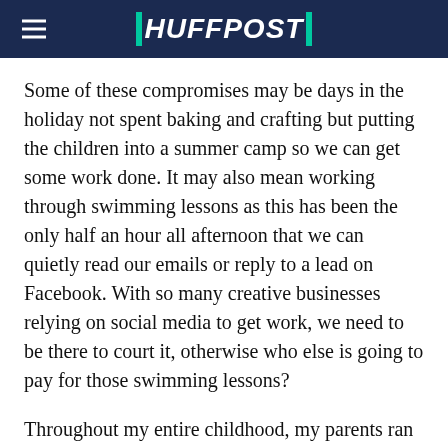HUFFPOST
Some of these compromises may be days in the holiday not spent baking and crafting but putting the children into a summer camp so we can get some work done. It may also mean working through swimming lessons as this has been the only half an hour all afternoon that we can quietly read our emails or reply to a lead on Facebook. With so many creative businesses relying on social media to get work, we need to be there to court it, otherwise who else is going to pay for those swimming lessons?
Throughout my entire childhood, my parents ran their own successful business, built up from scratch from humble beginnings buying and selling cool mirrors